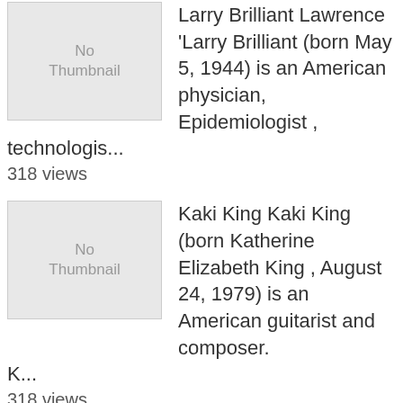[Figure (illustration): No Thumbnail placeholder image]
Larry Brilliant Lawrence 'Larry Brilliant (born May 5, 1944) is an American physician, Epidemiologist , technologis...
318 views
[Figure (illustration): No Thumbnail placeholder image]
Kaki King Kaki King (born Katherine Elizabeth King , August 24, 1979) is an American guitarist and composer. K...
318 views
[Figure (illustration): No Thumbnail placeholder image]
Evelyn Glennie Dame Evelyn Elizabeth Ann Glennie , [1] CH , DBE (born 19 July 1965) is a Scottish virtuoso percussi...
316 views
[Figure (illustration): No Thumbnail placeholder image (partial)]